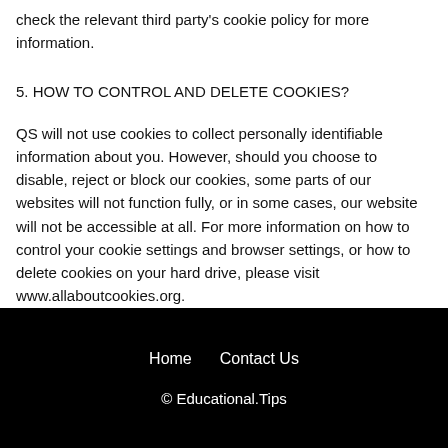check the relevant third party's cookie policy for more information.
5. HOW TO CONTROL AND DELETE COOKIES?
QS will not use cookies to collect personally identifiable information about you. However, should you choose to disable, reject or block our cookies, some parts of our websites will not function fully, or in some cases, our website will not be accessible at all. For more information on how to control your cookie settings and browser settings, or how to delete cookies on your hard drive, please visit www.allaboutcookies.org.
Home   Contact Us
© Educational.Tips